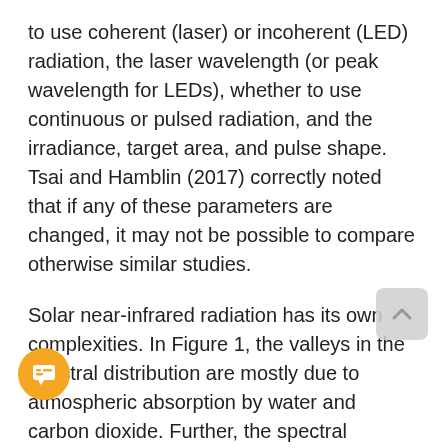to use coherent (laser) or incoherent (LED) radiation, the laser wavelength (or peak wavelength for LEDs), whether to use continuous or pulsed radiation, and the irradiance, target area, and pulse shape. Tsai and Hamblin (2017) correctly noted that if any of these parameters are changed, it may not be possible to compare otherwise similar studies.
Solar near-infrared radiation has its own complexities. In Figure 1, the valleys in the spectral distribution are mostly due to atmospheric absorption by water and carbon dioxide. Further, the spectral distribution itself varies over the course of the day, with relatively more of the visible light being absorbed near sunrise and [sunset]. Simply saying "solar near-infrared" is not enough when comparing daylight exposure to LLLT